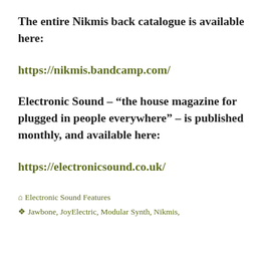The entire Nikmis back catalogue is available here:
https://nikmis.bandcamp.com/
Electronic Sound – “the house magazine for plugged in people everywhere” – is published monthly, and available here:
https://electronicsound.co.uk/
⌂ Electronic Sound Features
❖ Jawbone, JoyElectric, Modular Synth, Nikmis,